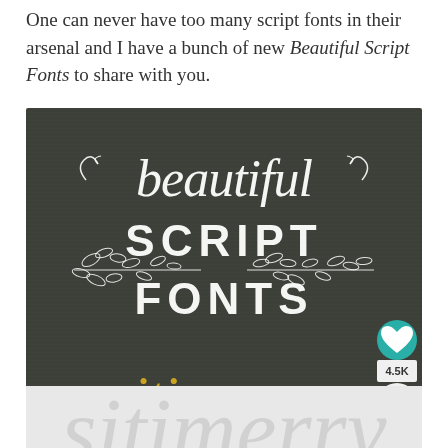One can never have too many script fonts in their arsenal and I have a bunch of new Beautiful Script Fonts to share with you.
[Figure (illustration): Chalkboard-style image with white script text 'beautiful' at top in cursive, followed by 'SCRIPT FONTS' in white sans-serif with decorative leaf branches on either side, and golden/yellow cursive text 'sitimerry' at the bottom. Overlaid on a dark chalkboard background. Has teal heart/favorite button (4.5K) and share button on the right edge.]
[Figure (illustration): Partial view of gray/light background with large cursive script letters partially visible at the bottom of the page.]